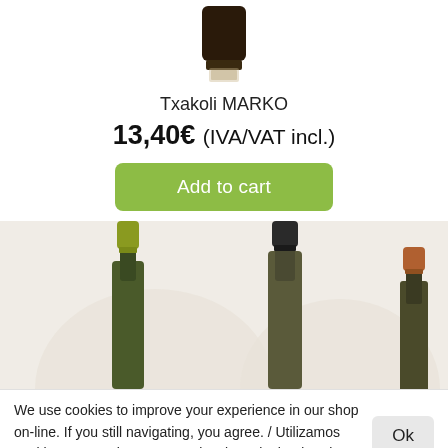[Figure (photo): Top portion of a dark wine bottle with a black capsule/foil, cropped at the neck, on white background]
Txakoli MARKO
13,40€ (IVA/VAT incl.)
[Figure (screenshot): Green 'Add to cart' button]
[Figure (photo): Three wine bottle necks cropped, showing different foil capsule colors: olive green, dark grey/black, and copper/bronze, with beige label background panels]
We use cookies to improve your experience in our shop on-line. If you still navigating, you agree. / Utilizamos cookies para mejorar tu experiencia en la tienda. Si continuas navegando entendemos que los aceptas.